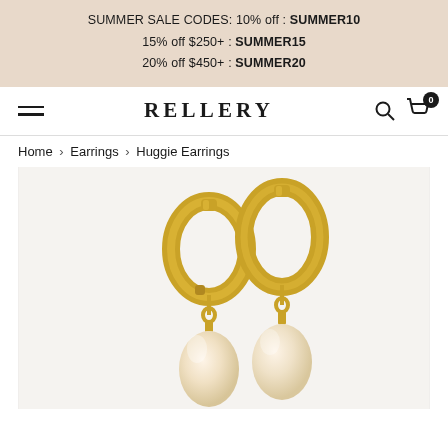SUMMER SALE CODES: 10% off : SUMMER10
15% off $250+ : SUMMER15
20% off $450+ : SUMMER20
RELLERY
Home > Earrings > Huggie Earrings
[Figure (photo): Two gold huggie hoop earrings with pearl drops hanging from them, photographed on a light background.]